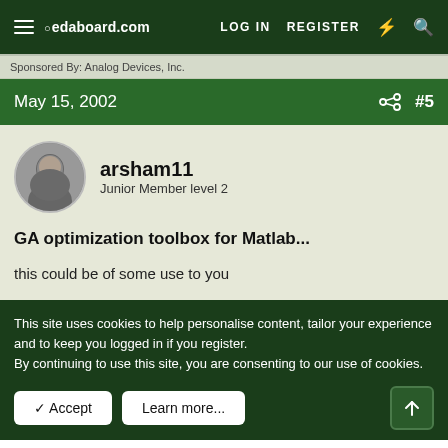edaboard.com — LOG IN  REGISTER
Sponsored By: Analog Devices, Inc.
May 15, 2002  #5
arsham11
Junior Member level 2
GA optimization toolbox for Matlab...
this could be of some use to you
This site uses cookies to help personalise content, tailor your experience and to keep you logged in if you register. By continuing to use this site, you are consenting to our use of cookies.